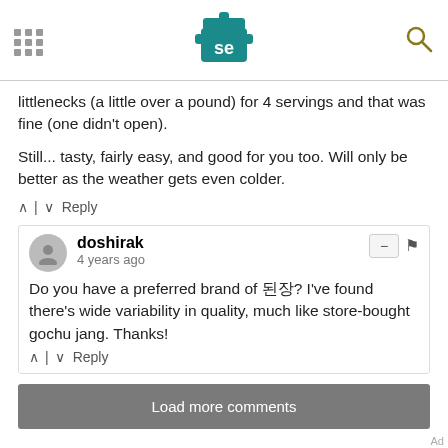Serious Eats header with logo and search icon
littlenecks (a little over a pound) for 4 servings and that was fine (one didn't open).
Still... tasty, fairly easy, and good for you too. Will only be better as the weather gets even colder.
^ | v Reply
doshirak
4 years ago
Do you have a preferred brand of 된장? I've found there's wide variability in quality, much like store-bought gochu jang. Thanks!
^ | v Reply
Load more comments
[Figure (screenshot): Dotdash Meredith advertisement banner: 'We help people find answers, solve problems and get inspired.']